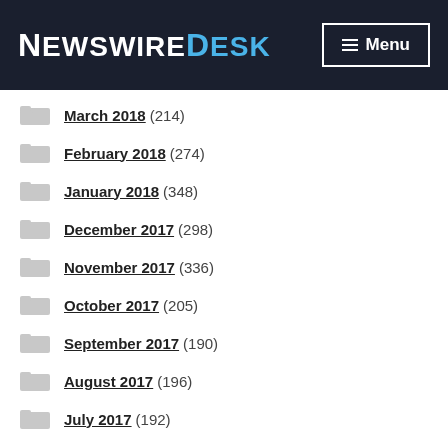NewswireDesk — Menu
March 2018 (214)
February 2018 (274)
January 2018 (348)
December 2017 (298)
November 2017 (336)
October 2017 (205)
September 2017 (190)
August 2017 (196)
July 2017 (192)
June 2017 (179)